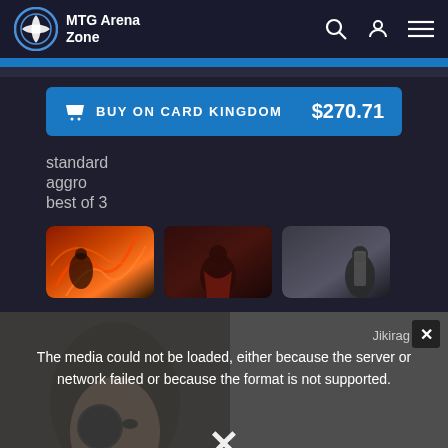MTG Arena Zone
BUY ON CARD KINGDOM  $270.71
standard
aggro
best of 3
[Figure (screenshot): Three card art thumbnails side by side]
[Figure (screenshot): Video player showing error: Jikirag label visible. Error message: The media could not be loaded, either because the server or network failed or because the format is not supported. X close button visible. Video timeline with numbers 0,1,2,3,4,5,6+ at bottom.]